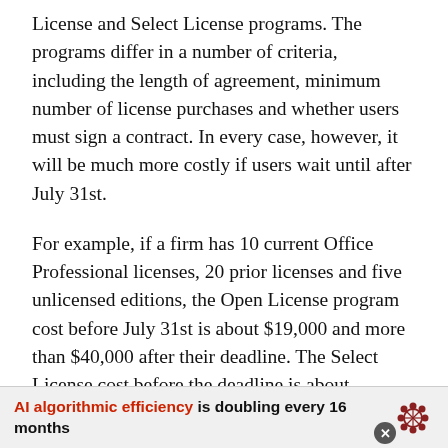License and Select License programs. The programs differ in a number of criteria, including the length of agreement, minimum number of license purchases and whether users must sign a contract. In every case, however, it will be much more costly if users wait until after July 31st.
For example, if a firm has 10 current Office Professional licenses, 20 prior licenses and five unlicensed editions, the Open License program cost before July 31st is about $19,000 and more than $40,000 after their deadline. The Select License cost before the deadline is about $18,000 compared to $38,000 after July 31st.
AI algorithmic efficiency is doubling every 16 months